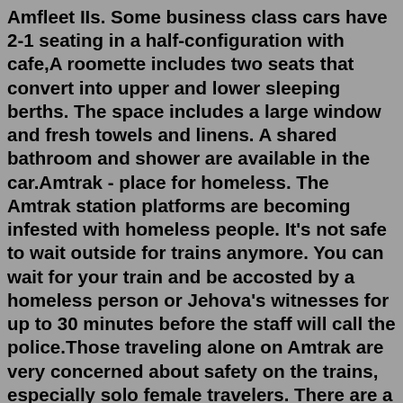Amfleet IIs. Some business class cars have 2-1 seating in a half-configuration with cafe,A roomette includes two seats that convert into upper and lower sleeping berths. The space includes a large window and fresh towels and linens. A shared bathroom and shower are available in the car.Amtrak - place for homeless. The Amtrak station platforms are becoming infested with homeless people. It's not safe to wait outside for trains anymore. You can wait for your train and be accosted by a homeless person or Jehova's witnesses for up to 30 minutes before the staff will call the police.Those traveling alone on Amtrak are very concerned about safety on the trains, especially solo female travelers. There are a few precautions you can take to ensure a safe and easy journey. Be sure not to pack too much. It is hard to keep up with lots of bags while you are on the train. There is a luggage rack in each car but you may not have a ...Pros: I was able to sleep on the train. Tips: Bring a pillow and blanket, snacks, and water. Phone charger, headphones, book etc. (Medicine if your stomach ails.) I was comfortable...